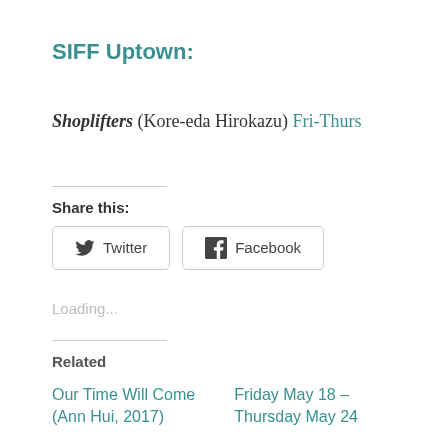SIFF Uptown:
Shoplifters (Kore-eda Hirokazu) Fri-Thurs
Share this:
Twitter  Facebook
Loading...
Related
Our Time Will Come (Ann Hui, 2017)
Friday May 18 – Thursday May 24